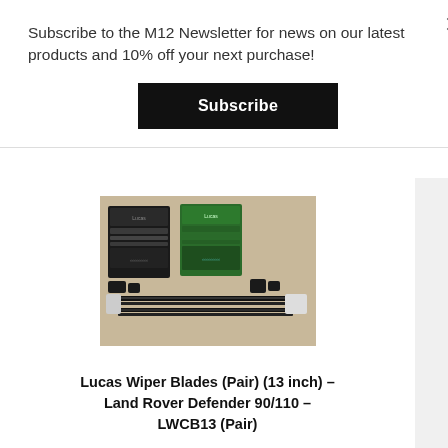Subscribe to the M12 Newsletter for news on our latest products and 10% off your next purchase!
Subscribe
[Figure (photo): Photo of Lucas wiper blades pair with packaging boxes (black and green) on a beige surface, with two wiper blade strips laid out below the boxes.]
Lucas Wiper Blades (Pair) (13 inch) – Land Rover Defender 90/110 – LWCB13 (Pair)
£11.97